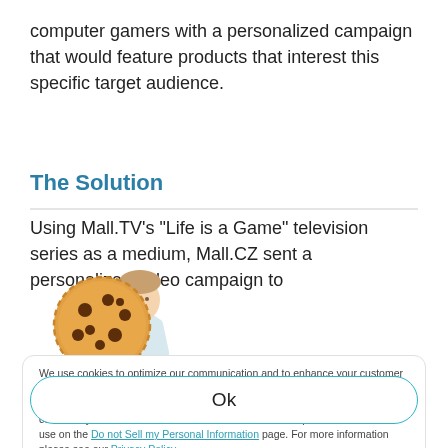computer gamers with a personalized campaign that would feature products that interest this specific target audience.
The Solution
Using Mall.TV's “Life is a Game” television series as a medium, Mall.CZ sent a personalized video campaign to ...
[Figure (illustration): Illustration of a person holding a large cookie, with cookie consent UI overlay]
We use cookies to optimize our communication and to enhance your customer experience. We also share information about how you use our website with our third parties including social plugins and analytics. You consent to our use of cookies if you continue to browse our website. You can opt out of our cookie use on the Do not Sell my Personal Information page. For more information please see our Privacy Policy.
Ok